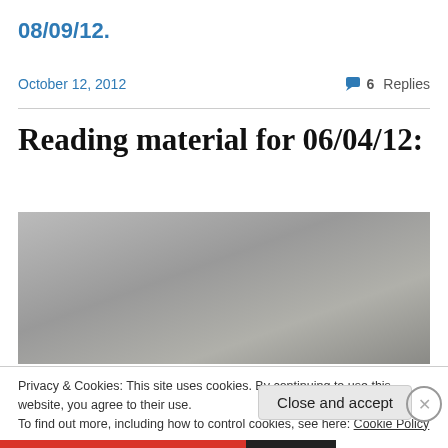08/09/12.
October 12, 2012
6 Replies
Reading material for 06/04/12:
[Figure (photo): Gray textured surface, appears to be a stone or concrete background]
Privacy & Cookies: This site uses cookies. By continuing to use this website, you agree to their use.
To find out more, including how to control cookies, see here: Cookie Policy